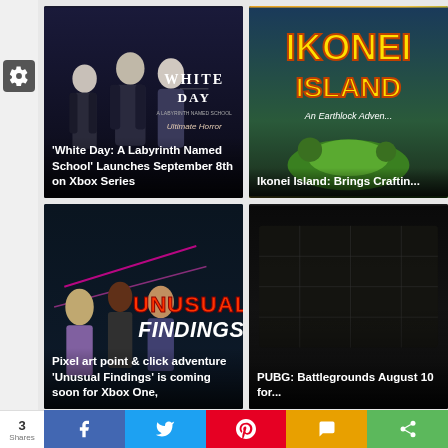[Figure (screenshot): Website screenshot showing a gaming news grid layout with multiple article cards. Left sidebar with gear/settings icon. Top-left card: 'White Day: A Labyrinth Named School' horror game art. Top-right card: 'Ikonei Island' game art. Middle-left card: 'Unusual Findings' pixel art adventure game. Middle-right card: 'PUBG: Battlegrounds' article. Two more article cards partially visible at bottom. Social share bar at bottom with Facebook, Twitter, Pinterest, SMS, and Share buttons showing 3 Shares.]